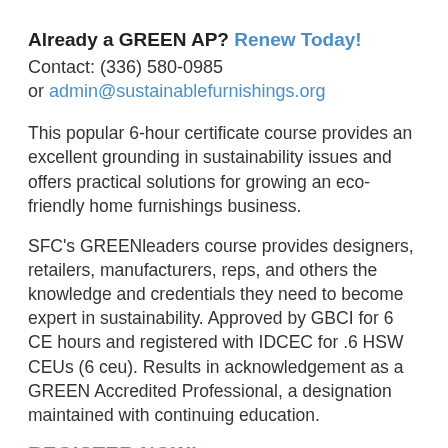Already a GREEN AP? Renew Today!
Contact: (336) 580-0985
or admin@sustainablefurnishings.org
This popular 6-hour certificate course provides an excellent grounding in sustainability issues and offers practical solutions for growing an eco-friendly home furnishings business.
SFC's GREENleaders course provides designers, retailers, manufacturers, reps, and others the knowledge and credentials they need to become expert in sustainability. Approved by GBCI for 6 CE hours and registered with IDCEC for .6 HSW CEUs (6 ceu). Results in acknowledgement as a GREEN Accredited Professional, a designation maintained with continuing education.
REGISTER NOW!